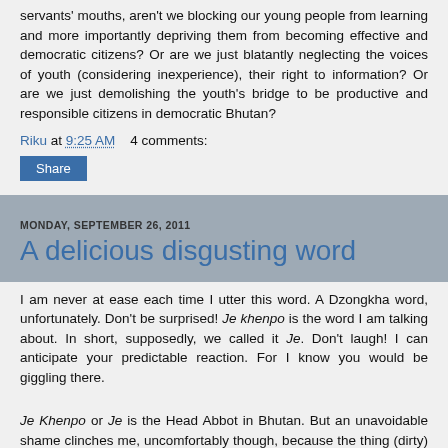servants' mouths, aren't we blocking our young people from learning and more importantly depriving them from becoming effective and democratic citizens? Or are we just blatantly neglecting the voices of youth (considering inexperience), their right to information? Or are we just demolishing the youth's bridge to be productive and responsible citizens in democratic Bhutan?
Riku at 9:25 AM    4 comments:
Share
MONDAY, SEPTEMBER 26, 2011
A delicious disgusting word
I am never at ease each time I utter this word. A Dzongkha word, unfortunately. Don't be surprised! Je khenpo is the word I am talking about. In short, supposedly, we called it Je. Don't laugh! I can anticipate your predictable reaction. For I know you would be giggling there.
Je Khenpo or Je is the Head Abbot in Bhutan. But an unavoidable shame clinches me, uncomfortably though, because the thing (dirty) of men is similarly picked to name a religious leadership person. Or am I...